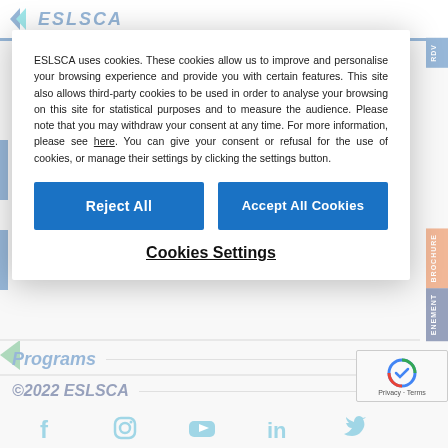ESLSCA
ESLSCA uses cookies. These cookies allow us to improve and personalise your browsing experience and provide you with certain features. This site also allows third-party cookies to be used in order to analyse your browsing on this site for statistical purposes and to measure the audience. Please note that you may withdraw your consent at any time. For more information, please see here. You can give your consent or refusal for the use of cookies, or manage their settings by clicking the settings button.
Reject All
Accept All Cookies
Cookies Settings
Programs
©2022 ESLSCA